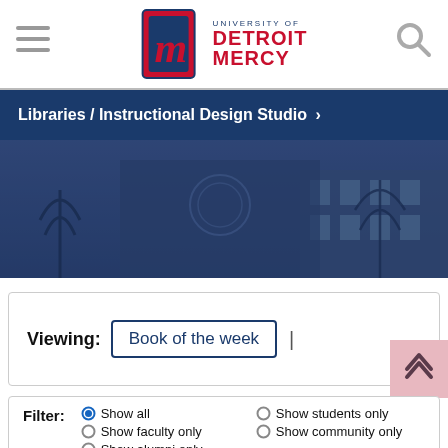[Figure (logo): University of Detroit Mercy logo with stylized M and text]
Libraries / Instructional Design Studio ›
[Figure (photo): Blue-tinted campus building photo with bare trees]
Viewing: Book of the week |
Filter: ● Show all ○ Show students only ○ Show faculty only ○ Show community only ○ Show alumni only